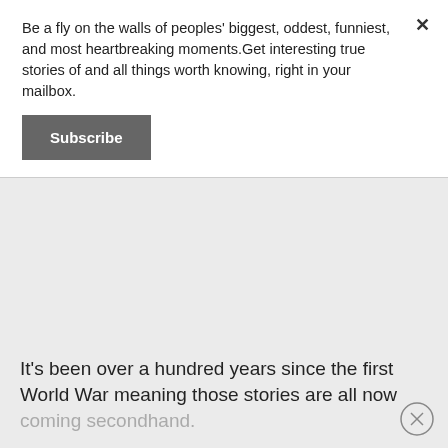Be a fly on the walls of peoples' biggest, oddest, funniest, and most heartbreaking moments.Get interesting true stories of and all things worth knowing, right in your mailbox.
Subscribe
It's been over a hundred years since the first World War meaning those stories are all now coming secondhand.